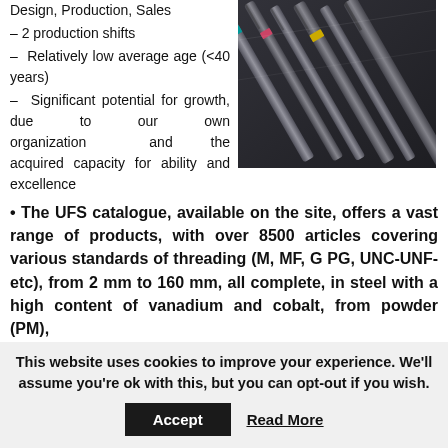Design, Production, Sales
– 2 production shifts
– Relatively low average age (<40 years)
– Significant potential for growth, due to our own organization and the acquired capacity for ability and excellence
[Figure (photo): Close-up photograph of multiple metal drill bits and taps arranged diagonally on a dark background, with colored rings near the top.]
• The UFS catalogue, available on the site, offers a vast range of products, with over 8500 articles covering various standards of threading (M, MF, G PG, UNC-UNF-etc), from 2 mm to 160 mm, all complete, in steel with a high content of vanadium and cobalt, from powder (PM), with various types of products.
This website uses cookies to improve your experience. We'll assume you're ok with this, but you can opt-out if you wish.